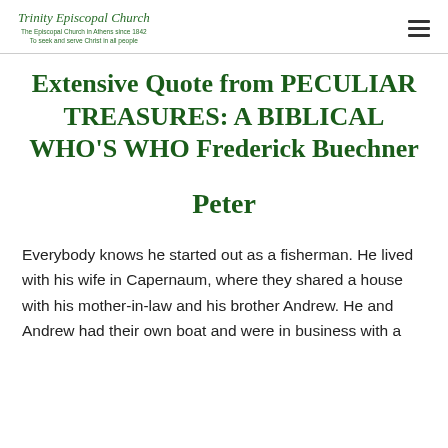Trinity Episcopal Church
The Episcopal Church in Athens since 1842
To seek and serve Christ in all people
Extensive Quote from PECULIAR TREASURES: A BIBLICAL WHO'S WHO Frederick Buechner
Peter
Everybody knows he started out as a fisherman. He lived with his wife in Capernaum, where they shared a house with his mother-in-law and his brother Andrew. He and Andrew had their own boat and were in business with a